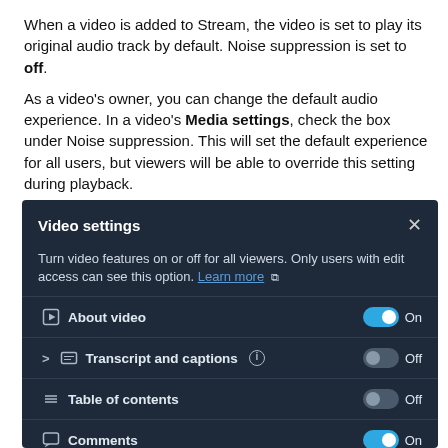When a video is added to Stream, the video is set to play its original audio track by default. Noise suppression is set to off.
As a video's owner, you can change the default audio experience. In a video's Media settings, check the box under Noise suppression. This will set the default experience for all users, but viewers will be able to override this setting during playback.
[Figure (screenshot): Video settings panel showing toggle controls: 'About video' (On), 'Transcript and captions' (Off), 'Table of contents' (Off), 'Comments' (On, partially visible). Panel has dark navy background with white/light text.]